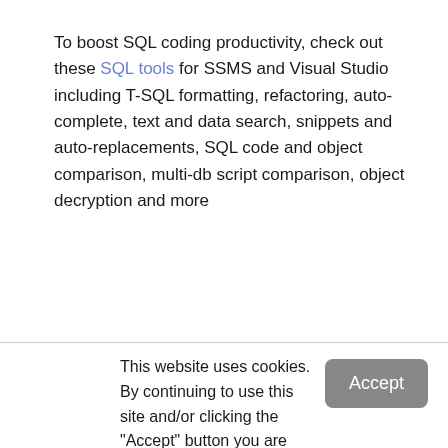To boost SQL coding productivity, check out these SQL tools for SSMS and Visual Studio including T-SQL formatting, refactoring, auto-complete, text and data search, snippets and auto-replacements, SQL code and object comparison, multi-db script comparison, object decryption and more
This website uses cookies. By continuing to use this site and/or clicking the "Accept" button you are providing consent
Quest Software and its affiliates do NOT sell the Personal Data you provide to us either when you register on our websites or when you do business with us. For more information about our Privacy Policy and our data protection efforts, please visit GDPR-HQ